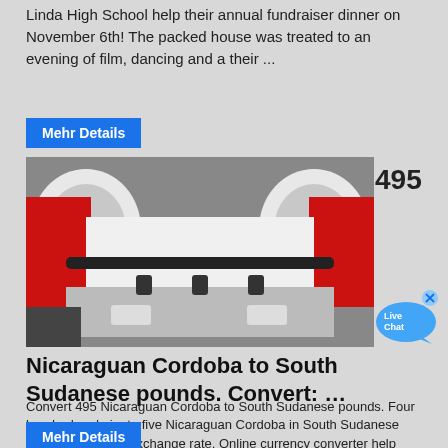Linda High School help their annual fundraiser dinner on November 6th! The packed house was treated to an evening of film, dancing and a their ...
Mehr Details
[Figure (photo): Close-up photo of a red and white industrial machine with rollers and black rod components]
495
[Figure (illustration): Live Chat speech bubble icon in blue]
Nicaraguan Cordoba to South Sudanese pounds. Convert: …
Convert 495 Nicaraguan Cordoba to South Sudanese pounds. Four hundred and ninety-five Nicaraguan Cordoba in South Sudanese Pound with today exchange rate. Online currency converter help with conversion from Nicaragua money in South Sudane local
Mehr Details